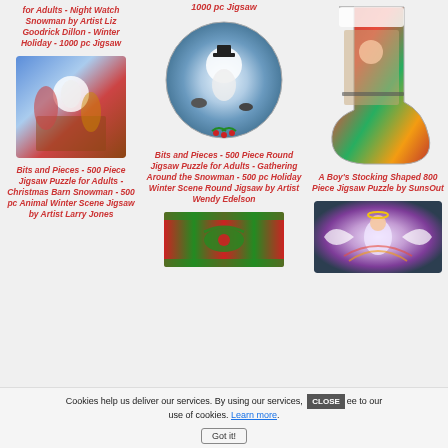for Adults - Night Watch Snowman by Artist Liz Goodrick Dillon - Winter Holiday - 1000 pc Jigsaw
1000 pc Jigsaw
[Figure (photo): Round jigsaw puzzle image showing a snowman scene with birds in winter]
[Figure (photo): Christmas stocking shaped puzzle with boy playing with train set]
[Figure (photo): Christmas barn snowman scene with horses and animals]
Bits and Pieces - 500 Piece Round Jigsaw Puzzle for Adults - Gathering Around the Snowman - 500 pc Holiday Winter Scene Round Jigsaw by Artist Wendy Edelson
A Boy's Stocking Shaped 800 Piece Jigsaw Puzzle by SunsOut
Bits and Pieces - 500 Piece Jigsaw Puzzle for Adults - Christmas Barn Snowman - 500 pc Animal Winter Scene Jigsaw by Artist Larry Jones
[Figure (photo): Needlepoint or decorative border image with holiday theme]
[Figure (photo): Angel mosaic puzzle image]
Cookies help us deliver our services. By using our services, you agree to our use of cookies. Learn more. Got it!